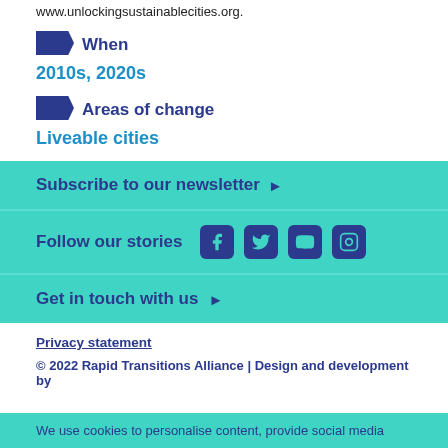www.unlockingsustainablecities.org.
When
2010s, 2020s
Areas of change
Liveable cities
Subscribe to our newsletter ▶
Follow our stories [Facebook] [Twitter] [YouTube] [Instagram]
Get in touch with us ▶
Privacy statement
© 2022 Rapid Transitions Alliance | Design and development by
We use cookies to personalise content, provide social media